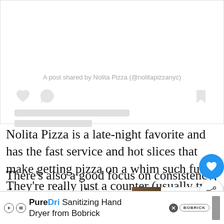[Figure (screenshot): Embedded Instagram post placeholder from Nolita Pizza (@nolitapizzanyc) showing loading skeleton with heart, comment, and bookmark icons]
A post shared by Nolita Pizza (@nolitapizzanyc)
Nolita Pizza is a late-night favorite and has the fast service and hot slices that make getting pizza on a whim such fun. They're really just a counter (usually two to three tables but none during COVID), so you should plan to eat either quickly or elsewhere—like nearby Roosevelt Park.
There's also a good focus on consistency; they're on time between batches which tend to come from the